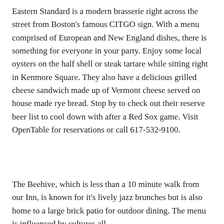Eastern Standard is a modern brasserie right across the street from Boston's famous CITGO sign. With a menu comprised of European and New England dishes, there is something for everyone in your party. Enjoy some local oysters on the half shell or steak tartare while sitting right in Kenmore Square. They also have a delicious grilled cheese sandwich made up of Vermont cheese served on house made rye bread. Stop by to check out their reserve beer list to cool down with after a Red Sox game. Visit OpenTable for reservations or call 617-532-9100.
The Beehive, which is less than a 10 minute walk from our Inn, is known for it's lively jazz brunches but is also home to a large brick patio for outdoor dining. The menu is influenced by cultures all